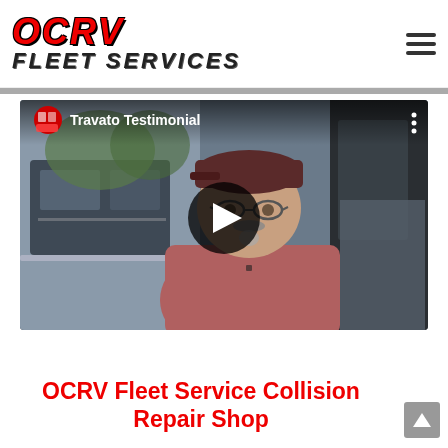[Figure (logo): OCRV Fleet Services logo with red OCRV text and black FLEET SERVICES text in italic bold style]
[Figure (screenshot): YouTube video thumbnail titled 'Travato Testimonial' showing a middle-aged man with glasses, mustache, and goatee wearing a dark red cap and pink polo shirt, standing near an RV. A circular YouTube channel avatar is visible top-left, with play button overlaid center.]
OCRV Fleet Service Collision Repair Shop